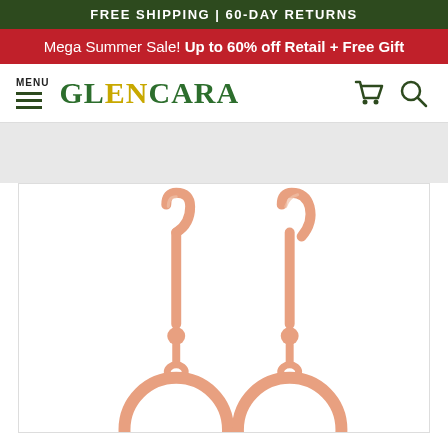FREE SHIPPING | 60-DAY RETURNS
Mega Summer Sale! Up to 60% off Retail + Free Gift
[Figure (logo): Glencara jewelry website navigation bar with MENU hamburger icon, Glencara logo in green and gold, shopping cart icon and search icon]
[Figure (photo): Two rose gold drop earrings with circular pendant, shown from above on white background. French hook style with ball detail and open circle charm.]